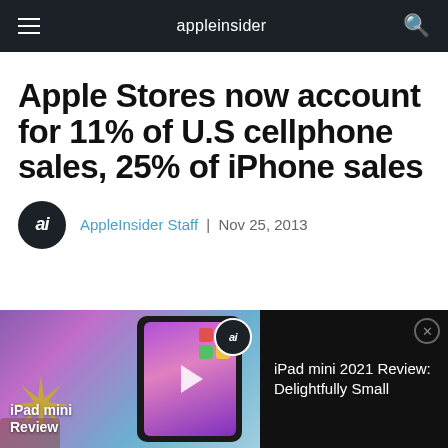appleinsider
Apple Stores now account for 11% of U.S cellphone sales, 25% of iPhone sales
AppleInsider Staff | Nov 25, 2013
[Figure (screenshot): Advertisement banner for iPad mini 2021 Review: Delightfully Small, showing an iPad with colorful gradient screen and decorative starburst ornament on left, text on dark right panel]